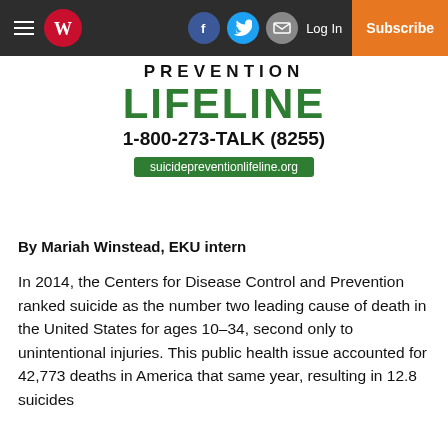The Washington Times — navigation header with hamburger menu, newspaper logo, Facebook, Twitter, Email icons, Log In, Subscribe
[Figure (logo): Suicide Prevention Lifeline logo: PREVENTION LIFELINE, 1-800-273-TALK (8255), suicidepreventionlifeline.org]
By Mariah Winstead, EKU intern
In 2014, the Centers for Disease Control and Prevention ranked suicide as the number two leading cause of death in the United States for ages 10–34, second only to unintentional injuries. This public health issue accounted for 42,773 deaths in America that same year, resulting in 12.8 suicides